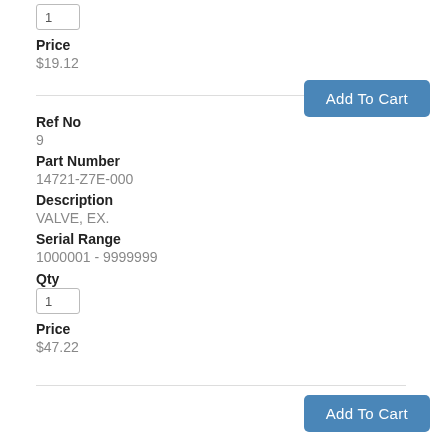Qty
1
Price
$19.12
Add To Cart
Ref No
9
Part Number
14721-Z7E-000
Description
VALVE, EX.
Serial Range
1000001 - 9999999
Qty
1
Price
$47.22
Add To Cart